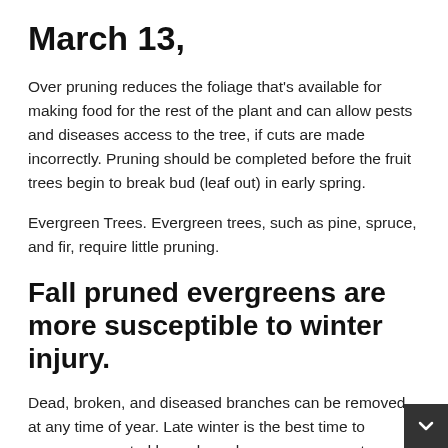March 13,
Over pruning reduces the foliage that's available for making food for the rest of the plant and can allow pests and diseases access to the tree, if cuts are made incorrectly. Pruning should be completed before the fruit trees begin to break bud (leaf out) in early spring.
Evergreen Trees. Evergreen trees, such as pine, spruce, and fir, require little pruning.
Fall pruned evergreens are more susceptible to winter injury.
Dead, broken, and diseased branches can be removed at any time of year. Late winter is the best time to remove unwanted lower branches on evergreen trees.
Aug 08, Burning bush (also known as Euonymus alatus) is a dramatic addition to any garden or treemulching.buzz it is a